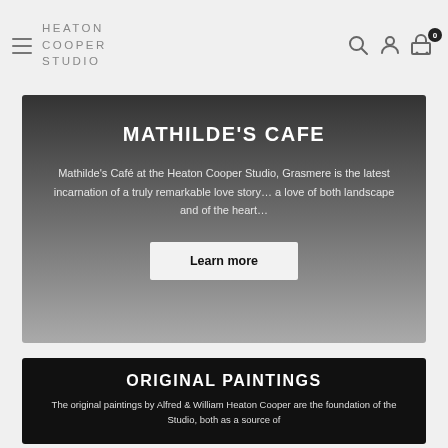HEATON COOPER STUDIO — navigation bar with hamburger menu, logo, search, account, cart icons
MATHILDE'S CAFE
Mathilde's Café at the Heaton Cooper Studio, Grasmere is the latest incarnation of a truly remarkable love story… a love of both landscape and of the heart…
Learn more
ORIGINAL PAINTINGS
The original paintings by Alfred & William Heaton Cooper are the foundation of the Studio, both as a source of